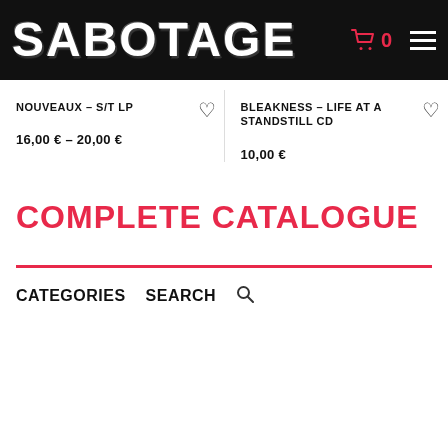SABOTAGE
NOUVEAUX – S/T LP
16,00 € – 20,00 €
BLEAKNESS – LIFE AT A STANDSTILL CD
10,00 €
COMPLETE CATALOGUE
CATEGORIES    SEARCH